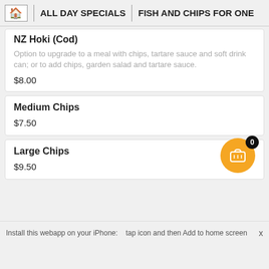🏠 | ALL DAY SPECIALS | FISH AND CHIPS FOR ONE
NZ Hoki (Cod)
Option to upgrade to a meal with chips, tartare sauce and soft drink can; or to add chips, garden salad and tartare sauce.
$8.00
Medium Chips
$7.50
Large Chips
$9.50
Install this webapp on your iPhone:    tap icon and then Add to home screen